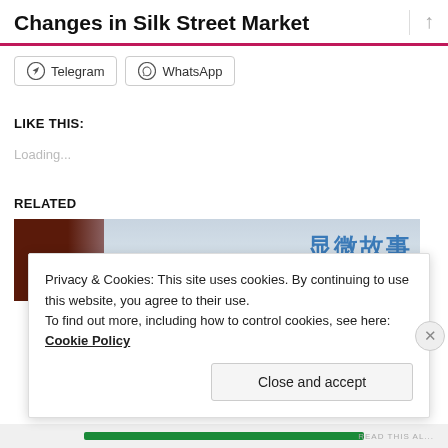Changes in Silk Street Market
Telegram  WhatsApp
LIKE THIS:
Loading...
RELATED
[Figure (photo): Related article thumbnail showing a building with Chinese text overlay reading 显微故事]
Privacy & Cookies: This site uses cookies. By continuing to use this website, you agree to their use.
To find out more, including how to control cookies, see here: Cookie Policy
Close and accept